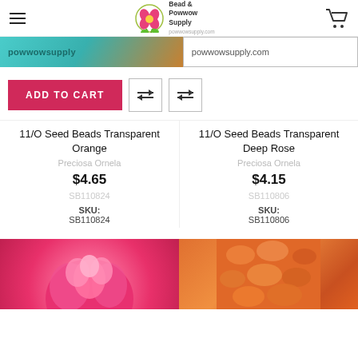Bead & Powwow Supply
[Figure (screenshot): Banner with powwowsupply text on teal/orange background on left, powwowsupply.com text in search box on right]
ADD TO CART
11/O Seed Beads Transparent Orange
Preciosa Ornela
$4.65
SB110824
SKU: SB110824
11/O Seed Beads Transparent Deep Rose
Preciosa Ornela
$4.15
SB110806
SKU: SB110806
[Figure (photo): Bottom product images: pink flower/rose bead on left, orange seed beads on right]